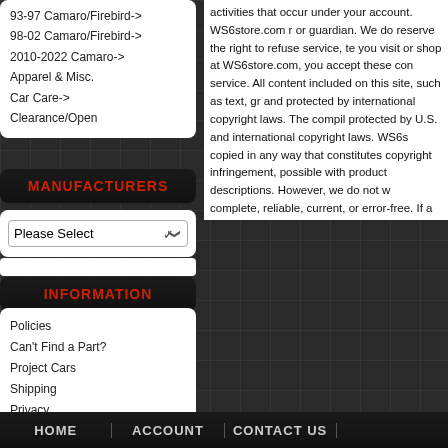93-97 Camaro/Firebird->
98-02 Camaro/Firebird->
2010-2022 Camaro->
Apparel & Misc.
Car Care->
Clearance/Open
MANUFACTURERS
Please Select
INFORMATION
Policies
Can't Find a Part?
Project Cars
Shipping
Privacy
Conditions
Gift Voucher FAQ
News
Help
activities that occur under your account. WS6store.com r or guardian. We do reserve the right to refuse service, te you visit or shop at WS6store.com, you accept these con service. All content included on this site, such as text, gr and protected by international copyright laws. The compil protected by U.S. and international copyright laws. WS6s copied in any way that constitutes copyright infringement, possible with product descriptions. However, we do not w complete, reliable, current, or error-free. If a product rece under our company's return guidelines. Please contact us
HOME    ACCOUNT    CONTACT US